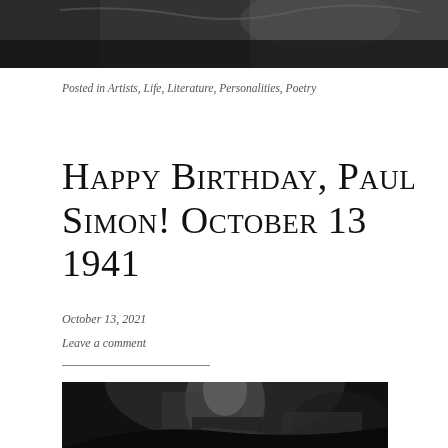[Figure (photo): Black and white photo top portion, partial view of a person]
Posted in Artists, Life, Literature, Personalities, Poetry
Happy Birthday, Paul Simon! October 13 1941
October 13, 2021
Leave a comment
[Figure (photo): Black and white photo of Paul Simon playing guitar on stage]